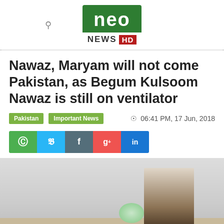[Figure (logo): Neo News HD logo - green background with 'neo' in white, 'NEWS' and 'HD' in red box below]
Nawaz, Maryam will not come Pakistan, as Begum Kulsoom Nawaz is still on ventilator
Pakistan | Important News  ©  06:41 PM, 17 Jun, 2018
[Figure (infographic): Social media share buttons: WhatsApp, Twitter, Facebook, Google+, LinkedIn]
[Figure (photo): Photo of a man in a suit sitting in a hospital room, with flowers visible]